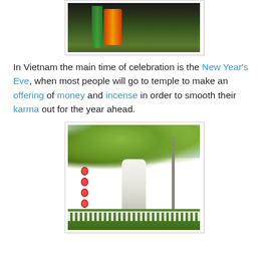[Figure (photo): Partial photo at top showing colorful decorations (orange/red and yellow/green) with foliage in background, dark background]
In Vietnam the main time of celebration is the New Year's Eve, when most people will go to temple to make an offering of money and incense in order to smooth their karma out for the year ahead.
[Figure (photo): Outdoor photo showing a white statue (likely Guanyin/Buddhist) in the foreground with a tree decorated with red lanterns and diamond-shaped ornaments, power lines and poles in background, green foliage at bottom, overcast sky]